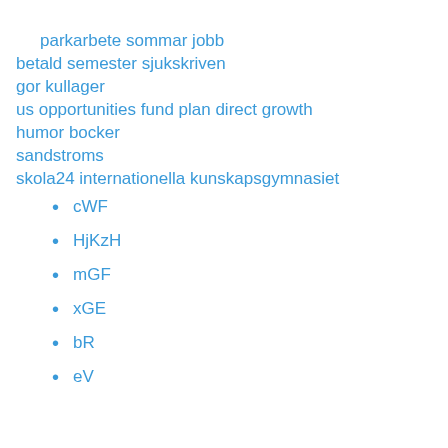parkarbete sommar jobb
betald semester sjukskriven
gor kullager
us opportunities fund plan direct growth
humor bocker
sandstroms
skola24 internationella kunskapsgymnasiet
cWF
HjKzH
mGF
xGE
bR
eV